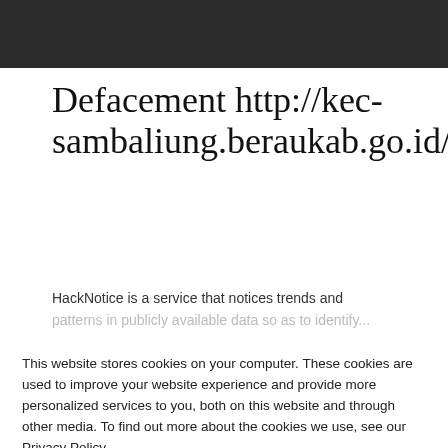[Figure (screenshot): Dark grey/black navigation bar header at the top of the page]
Defacement http://kec-sambaliung.beraukab.go.id/ohh.h
HackNotice is a service that notices trends and patterns in publicly available data so as to identify...
This website stores cookies on your computer. These cookies are used to improve your website experience and provide more personalized services to you, both on this website and through other media. To find out more about the cookies we use, see our Privacy Policy.
We won't track your information when you visit our site. But in order to comply with your preferences, we'll have to use just one tiny cookie so that you're not asked to make this choice again.
Accept | Decline